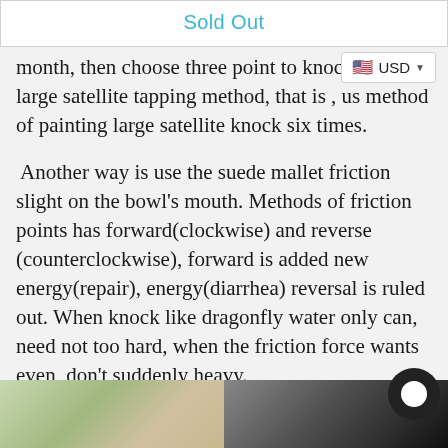Sold Out
month, then choose three point to knock. Or a large satellite tapping method, that is , us method of painting large satellite knock six times.
Another way is use the suede mallet friction slight on the bowl’s mouth. Methods of friction points has forward(clockwise) and reverse (counterclockwise), forward is added new energy(repair), energy(diarrhea) reversal is ruled out. When knock like dragonfly water only can, need not too hard, when the friction force wants even, don’t suddenly heavy.
[Figure (photo): Two photos side by side: left shows yoga mats on a floor with a person, right shows a person playing a singing bowl in black and white]